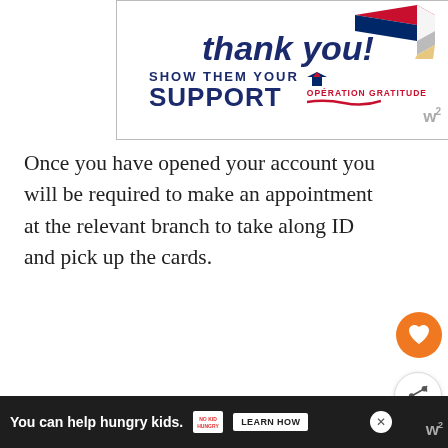[Figure (illustration): Advertisement banner: 'Thank you! Show them your SUPPORT — Operation Gratitude' with a pencil graphic and star logo]
Once you have opened your account you will be required to make an appointment at the relevant branch to take along ID and pick up the cards.
If you are making a payment under $100 by card you may be asked if it's PayWave. All credit and debit cards in Australia come with the contactless (or tap) payment option and th...
[Figure (infographic): Bottom ad bar: 'You can help hungry kids. NO KID HUNGRY [LEARN HOW]' with close button]